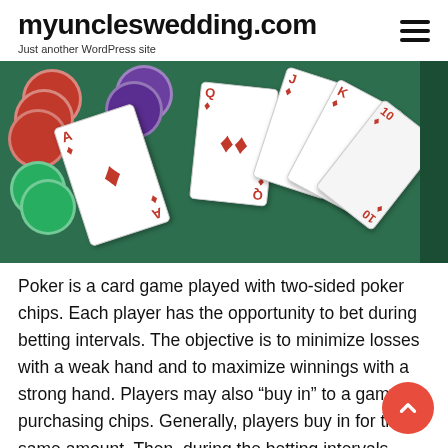myuncleswedding.com — Just another WordPress site
[Figure (photo): Photo of playing cards (Ace, Queen, King, Jack, Ten of diamonds) fanned out on a green felt surface with red, green, and purple poker chips]
Poker is a card game played with two-sided poker chips. Each player has the opportunity to bet during betting intervals. The objective is to minimize losses with a weak hand and to maximize winnings with a strong hand. Players may also “buy in” to a game by purchasing chips. Generally, players buy in for the same amount. Then, during the betting intervals, they